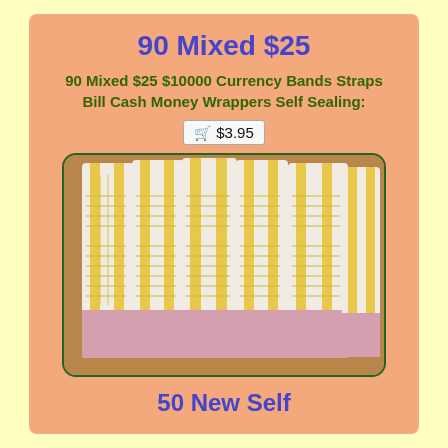90 Mixed $25
90 Mixed $25 $10000 Currency Bands Straps Bill Cash Money Wrappers Self Sealing:
🛒 $3.95
[Figure (photo): Multiple currency band straps with yellow striping and pink bottom section, fanned out on a wooden surface]
50 New Self